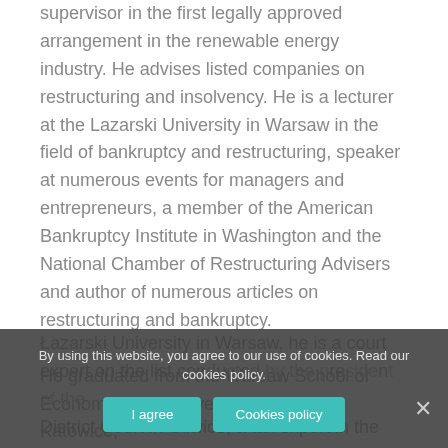supervisor in the first legally approved arrangement in the renewable energy industry. He advises listed companies on restructuring and insolvency. He is a lecturer at the Lazarski University in Warsaw in the field of bankruptcy and restructuring, speaker at numerous events for managers and entrepreneurs, a member of the American Bankruptcy Institute in Washington and the National Chamber of Restructuring Advisers and author of numerous articles on restructuring and bankruptcy.
He graduated from the Warsaw School of Economics, the University of Silesia in Katowice, Łazarski University in Warsaw, he is a court expert on the list conducted by the president of the District Court in Gliwice, a tax expert in the area of...
By using this website, you agree to our use of cookies. Read our cookies policy.